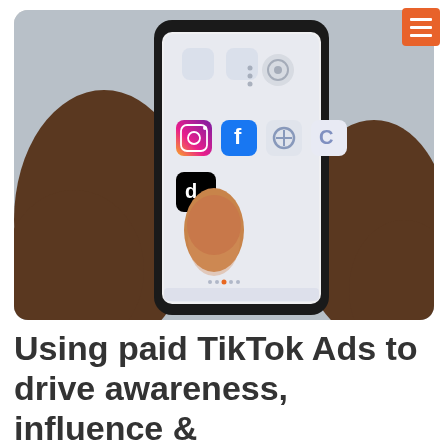[Figure (photo): A hand holding a smartphone with social media app icons visible on screen including Instagram, Facebook, and TikTok icons, with a finger pressing the TikTok icon.]
Using paid TikTok Ads to drive awareness, influence &